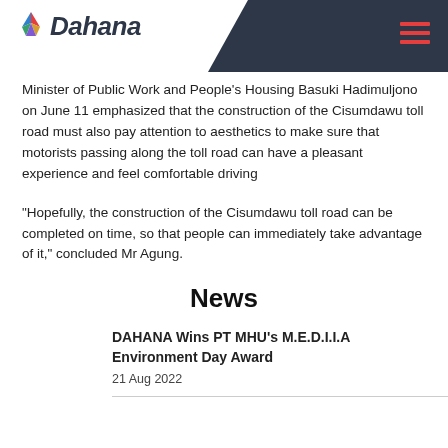[Figure (logo): Dahana company logo with colorful triangle icon and italic bold text]
Minister of Public Work and People's Housing Basuki Hadimuljono on June 11 emphasized that the construction of the Cisumdawu toll road must also pay attention to aesthetics to make sure that motorists passing along the toll road can have a pleasant experience and feel comfortable driving
"Hopefully, the construction of the Cisumdawu toll road can be completed on time, so that people can immediately take advantage of it," concluded Mr Agung.
News
DAHANA Wins PT MHU's M.E.D.I.I.A Environment Day Award
21 Aug 2022